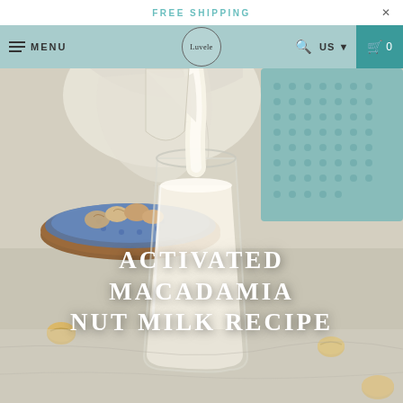FREE SHIPPING ×
MENU | Luvele | US ▼ | 🛒 0
[Figure (photo): A glass of white macadamia nut milk being poured from a cloth strainer bag, with macadamia nuts on a blue ceramic plate in the background, teal knit cloth, and scattered golden macadamia nuts on a marble surface.]
ACTIVATED MACADAMIA NUT MILK RECIPE